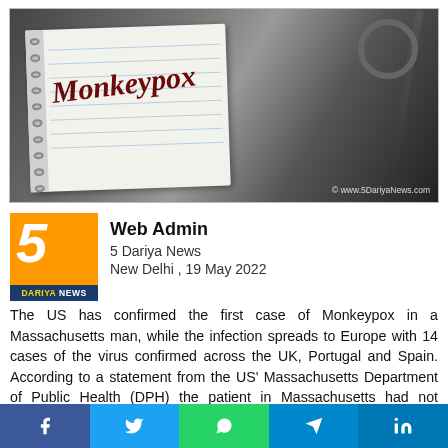[Figure (photo): Photo of a spiral notebook with 'Monkeypox' written in cursive dark red text, alongside a stethoscope on a dark background. Watermark: © www.5DariyaNews.com]
Web Admin
5 Dariya News
New Delhi , 19 May 2022
The US has confirmed the first case of Monkeypox in a Massachusetts man, while the infection spreads to Europe with 14 cases of the virus confirmed across the UK, Portugal and Spain. According to a statement from the US' Massachusetts Department of Public Health (DPH) the patient in Massachusetts had not recently travelled to countries where the disease occurs but had visited Canada. "The individual is hospitalised and is in a good condition" the
[Figure (logo): 5 Dariya News logo — orange square with large white italic '5', dark blue bottom strip reading 'DARIYA NEWS' in gold text]
f  [Twitter bird]  [WhatsApp]  [Telegram]  in